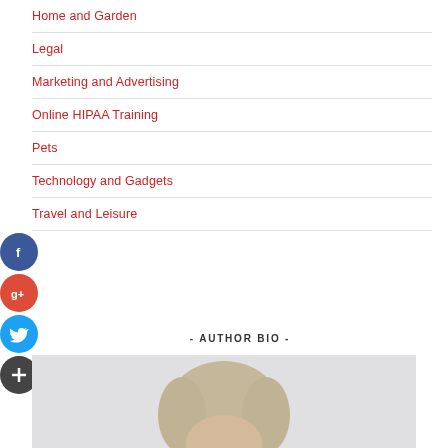Home and Garden
Legal
Marketing and Advertising
Online HIPAA Training
Pets
Technology and Gadgets
Travel and Leisure
- AUTHOR BIO -
[Figure (photo): Author headshot photo, partially visible at bottom of page showing a person with blonde/grey hair]